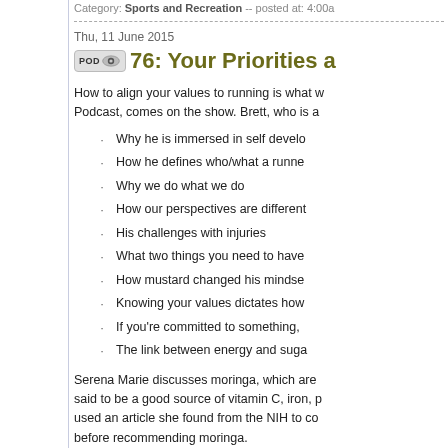Category: Sports and Recreation -- posted at: 4:00a
Thu, 11 June 2015
76: Your Priorities a
How to align your values to running is what w Podcast, comes on the show. Brett, who is a
Why he is immersed in self develo
How he defines who/what a runne
Why we do what we do
How our perspectives are different
His challenges with injuries
What two things you need to have
How mustard changed his mindse
Knowing your values dictates how
If you're committed to something,
The link between energy and suga
Serena Marie discusses moringa, which are said to be a good source of vitamin C, iron, p used an article she found from the NIH to co before recommending moringa.
Links Discussed:
Brett Gajda: WhereTheresSmoke.co
Valencia in Action